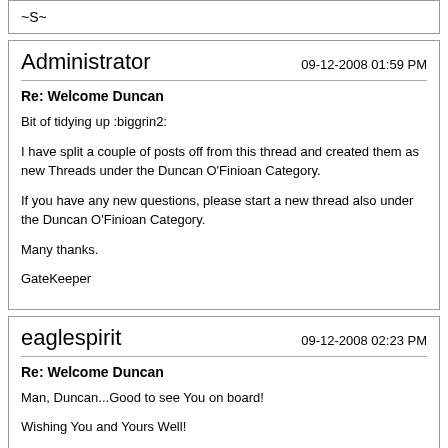~S~
Administrator
09-12-2008 01:59 PM

Re: Welcome Duncan

Bit of tidying up :biggrin2:

I have split a couple of posts off from this thread and created them as new Threads under the Duncan O'Finioan Category.

If you have any new questions, please start a new thread also under the Duncan O'Finioan Category.

Many thanks.

GateKeeper
eaglespirit
09-12-2008 02:23 PM

Re: Welcome Duncan

Man, Duncan...Good to see You on board!

Wishing You and Yours Well!